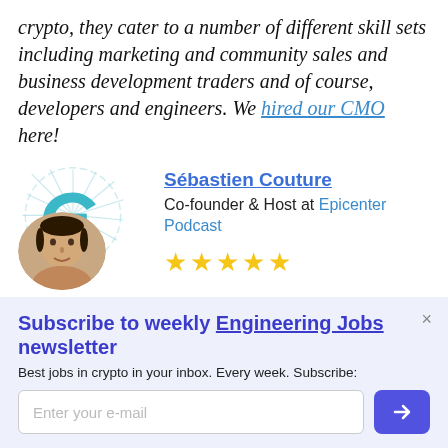crypto, they cater to a number of different skill sets including marketing and community sales and business development traders and of course, developers and engineers. We hired our CMO here!
[Figure (logo): Epicenter podcast logo (teal stylized 'e' with circuit-like lines) and a circular profile photo of a man]
Sébastien Couture
Co-founder & Host at Epicenter Podcast
★★★★★
Subscribe to weekly Engineering Jobs newsletter
Best jobs in crypto in your inbox. Every week. Subscribe:
Enter your e-mail